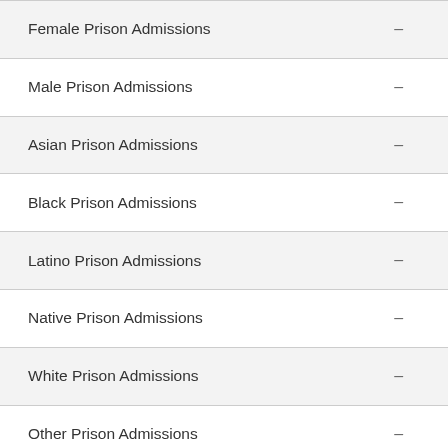|  |  |
| --- | --- |
| Female Prison Admissions | – |
| Male Prison Admissions | – |
| Asian Prison Admissions | – |
| Black Prison Admissions | – |
| Latino Prison Admissions | – |
| Native Prison Admissions | – |
| White Prison Admissions | – |
| Other Prison Admissions | – |
| Asian Prison Population | 15 |